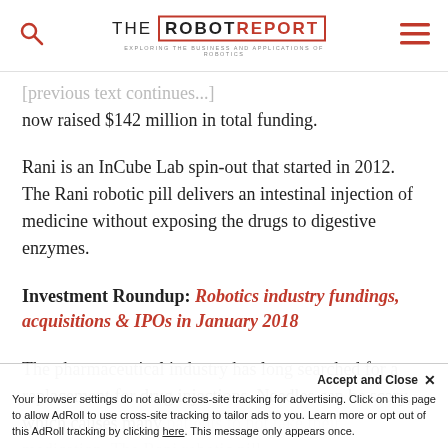THE ROBOT REPORT — EXPLORING THE BUSINESS AND APPLICATIONS OF ROBOTICS
now raised $142 million in total funding.
Rani is an InCube Lab spin-out that started in 2012. The Rani robotic pill delivers an intestinal injection of medicine without exposing the drugs to digestive enzymes.
Investment Roundup: Robotics industry fundings, acquisitions & IPOs in January 2018
The pharmaceutical industry has long searched for a replacement for drug injections. Needles can be scary, which causes many patients to not take their medication. The Rani robotic pill travels through the stomach and eventually...
Your browser settings do not allow cross-site tracking for advertising. Click on this page to allow AdRoll to use cross-site tracking to tailor ads to you. Learn more or opt out of this AdRoll tracking by clicking here. This message only appears once.